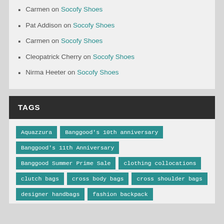Carmen on Socofy Shoes
Pat Addison on Socofy Shoes
Carmen on Socofy Shoes
Cleopatrick Cherry on Socofy Shoes
Nirma Heeter on Socofy Shoes
TAGS
Aquazzura
Banggood's 10th anniversary
Banggood's 11th Anniversary
Banggood Summer Prime Sale
clothing collocations
clutch bags
cross body bags
cross shoulder bags
designer handbags
fashion backpack